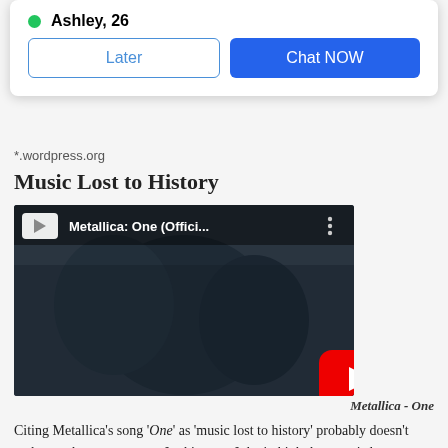[Figure (screenshot): Dialog popup with green dot, name 'Ashley, 26', and two buttons: 'Later' and 'Chat NOW']
*.wordpress.org
Music Lost to History
[Figure (screenshot): YouTube video thumbnail for 'Metallica: One (Offici...' with red play button and YouTube logo on dark background]
Metallica - One
Citing Metallica's song 'One' as 'music lost to history' probably doesn't make much sense to most. In this case, I don't think the song is lost to history, but the video is.
When this video dropped (I'd guess it was about 1989) I thought it was the most powerful video I had ever seen. Now, nearly thirty years later, I still believe it is the most powerful music video ever made.